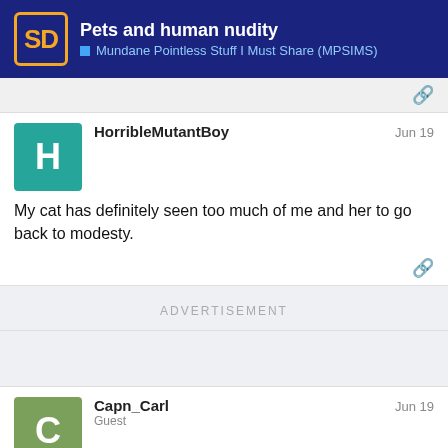Pets and human nudity — Mundane Pointless Stuff I Must Share (MPSIMS)
HorribleMutantBoy Jun 19
My cat has definitely seen too much of me and her to go back to modesty.
ADVERTISEMENT
Capn_Carl Guest Jun 19
When I met Wife, her dog was 6 months o
9 / 36